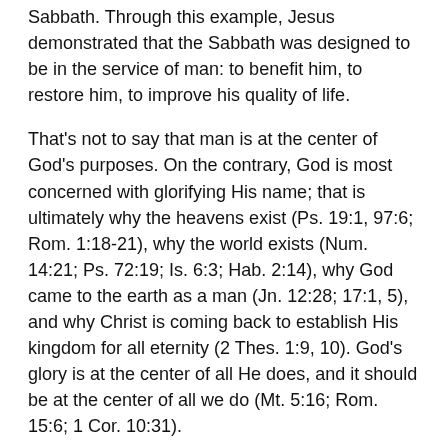Sabbath. Through this example, Jesus demonstrated that the Sabbath was designed to be in the service of man: to benefit him, to restore him, to improve his quality of life.
That's not to say that man is at the center of God's purposes. On the contrary, God is most concerned with glorifying His name; that is ultimately why the heavens exist (Ps. 19:1, 97:6; Rom. 1:18-21), why the world exists (Num. 14:21; Ps. 72:19; Is. 6:3; Hab. 2:14), why God came to the earth as a man (Jn. 12:28; 17:1, 5), and why Christ is coming back to establish His kingdom for all eternity (2 Thes. 1:9, 10). God's glory is at the center of all He does, and it should be at the center of all we do (Mt. 5:16; Rom. 15:6; 1 Cor. 10:31).
The reason God condescends to serve mankind is so that His name might be glorified. As John Piper famously says, God is most glorified in us when we are most satisfied in Him. This story in Luke is a good example: “She was made straight [Jesus served her, for her benefit],” and the result was that she “glorified God [the end and purpose of our well-being].”